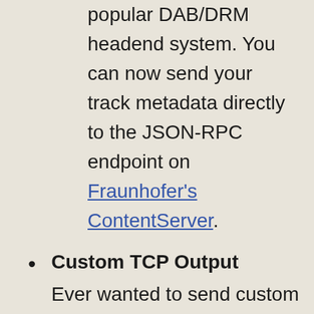popular DAB/DRM headend system. You can now send your track metadata directly to the JSON-RPC endpoint on Fraunhofer's ContentServer.
Custom TCP Output
Ever wanted to send custom TCP data to an arbitrary third party system? This release now supports just that!
Ecreso RDS
We now support the RDS interface on these popular FM transmitters, including RadioText and Dynamic PS